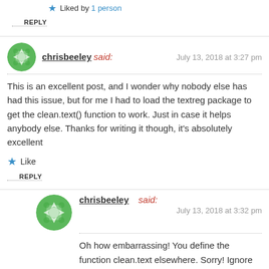★ Liked by 1 person
REPLY
chrisbeeley said: July 13, 2018 at 3:27 pm
This is an excellent post, and I wonder why nobody else has had this issue, but for me I had to load the textreg package to get the clean.text() function to work. Just in case it helps anybody else. Thanks for writing it though, it's absolutely excellent
★ Like
REPLY
chrisbeeley said: July 13, 2018 at 3:32 pm
Oh how embarrassing! You define the function clean.text elsewhere. Sorry! Ignore